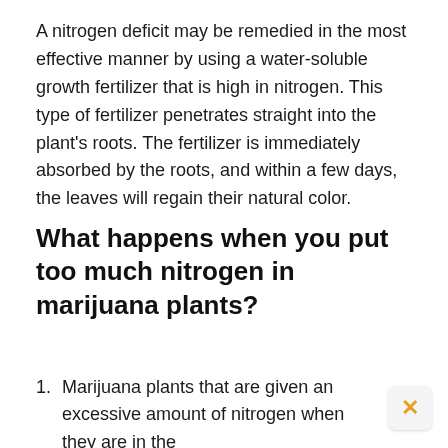A nitrogen deficit may be remedied in the most effective manner by using a water-soluble growth fertilizer that is high in nitrogen. This type of fertilizer penetrates straight into the plant's roots. The fertilizer is immediately absorbed by the roots, and within a few days, the leaves will regain their natural color.
What happens when you put too much nitrogen in marijuana plants?
Marijuana plants that are given an excessive amount of nitrogen when they are in the vegetative stage develop more slowly